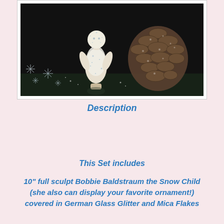[Figure (photo): A snow child figurine (Bobbie Baldstraum) covered in glitter and mica flakes, displayed next to a frosted pine cone and snowflake decorations on a dark background, in a white-bordered photo frame.]
Description
This Set includes
10" full sculpt Bobbie Baldstraum the Snow Child (she also can display your favorite ornament!) covered in German Glass Glitter and Mica Flakes